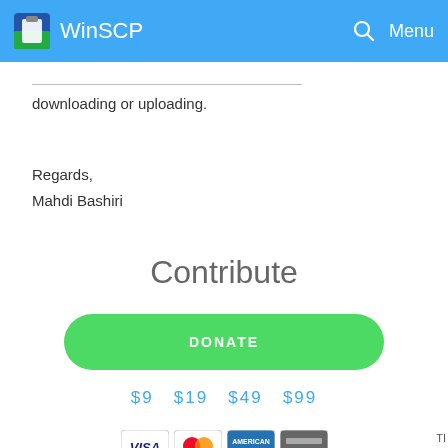WinSCP  Menu
downloading or uploading.
Regards,
Mahdi Bashiri
Contribute
DONATE
$9  $19  $49  $99
[Figure (other): Payment card logos: VISA, MasterCard, American Express, and a generic card]